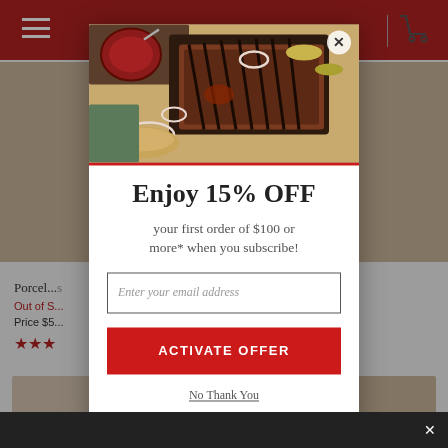[Figure (screenshot): E-commerce website background partially visible behind modal overlay, showing a red header bar with hamburger menu and cart icon, product listings with 'Porcel...' title, 'Out of S...' stock status, 'Price $5...' and red star ratings]
[Figure (photo): BBQ brisket photo showing sliced smoked brisket on a wooden cutting board with BBQ sauce, pickled peppers, and onion rings]
Enjoy 15% OFF
your first order of $100 or more* when you subscribe!
Enter your email address
ACTIVATE OFFER
No Thank You